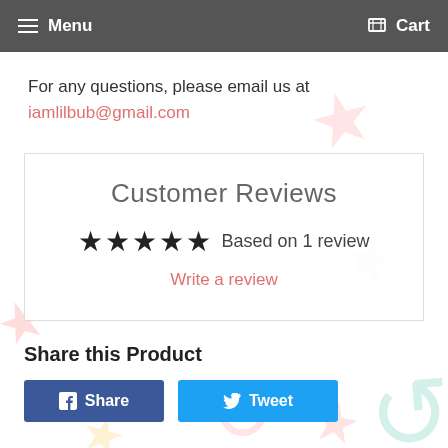Menu  Cart
For any questions, please email us at iamlilbub@gmail.com
Customer Reviews
★★★★★ Based on 1 review
Write a review
Share this Product
Share  Tweet